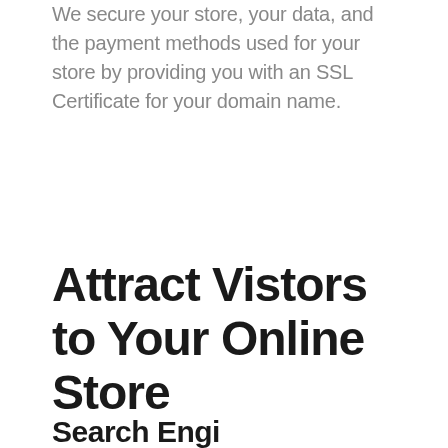We secure your store, your data, and the payment methods used for your store by providing you with an SSL Certificate for your domain name.
Attract Vistors to Your Online Store
Search Engi...